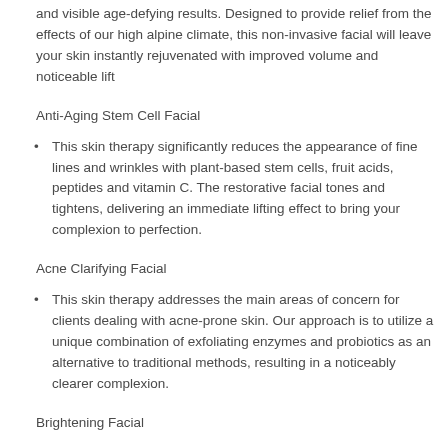and visible age-defying results. Designed to provide relief from the effects of our high alpine climate, this non-invasive facial will leave your skin instantly rejuvenated with improved volume and noticeable lift
Anti-Aging Stem Cell Facial
This skin therapy significantly reduces the appearance of fine lines and wrinkles with plant-based stem cells, fruit acids, peptides and vitamin C. The restorative facial tones and tightens, delivering an immediate lifting effect to bring your complexion to perfection.
Acne Clarifying Facial
This skin therapy addresses the main areas of concern for clients dealing with acne-prone skin. Our approach is to utilize a unique combination of exfoliating enzymes and probiotics as an alternative to traditional methods, resulting in a noticeably clearer complexion.
Brightening Facial